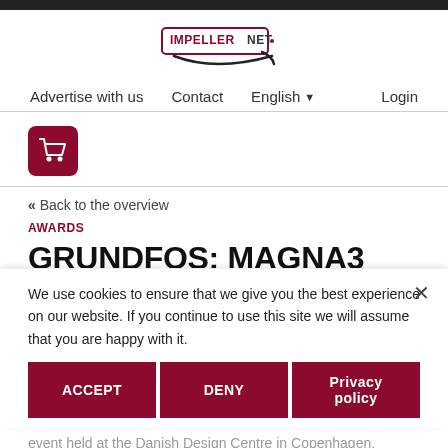[Figure (logo): Impeller.net logo with swoosh graphic and red/dark text]
Advertise with us   Contact   English   Login
[Figure (illustration): Shopping cart icon in dark red rounded square]
« Back to the overview
AWARDS
GRUNDFOS: MAGNA3 WINS THE DANISH DESIGN AWARD
11.10.2013
24 products and solutions were nominated in six categories when the Danish Design Award 2013 was granted at an event held at the Danish Design Centre in Copenhagen. Magna3 was selected as the winner in the category...
We use cookies to ensure that we give you the best experience on our website. If you continue to use this site we will assume that you are happy with it.
ACCEPT   DENY   Privacy policy